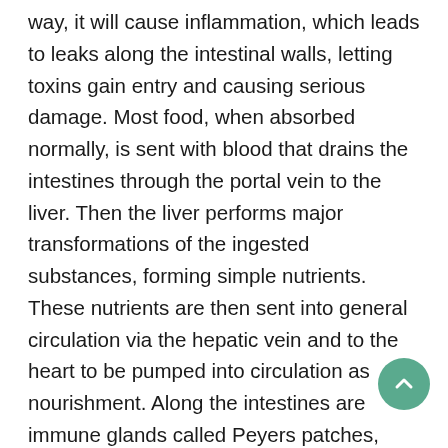way, it will cause inflammation, which leads to leaks along the intestinal walls, letting toxins gain entry and causing serious damage. Most food, when absorbed normally, is sent with blood that drains the intestines through the portal vein to the liver. Then the liver performs major transformations of the ingested substances, forming simple nutrients. These nutrients are then sent into general circulation via the hepatic vein and to the heart to be pumped into circulation as nourishment. Along the intestines are immune glands called Peyers patches, essentially strings of lymph nodes which are ready to attack bad foreign substances trying to gain entry into the body at the gut level. If the Peyers patches are constantly on high alert (due to poor dietary choices and/or germs, like the Johnes bug) this will lead to inflammation and send signals to the rest of the body that something is wrong at the gate of entry. Additionally, diets that are constantly irritating to the stomach lining